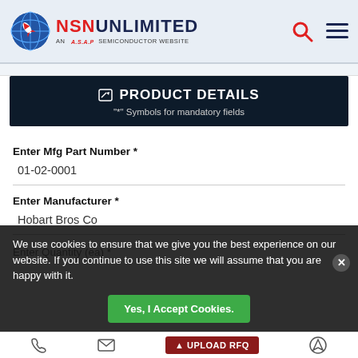NSN UNLIMITED — AN A.S.A.P SEMICONDUCTOR WEBSITE
PRODUCT DETAILS — "*" Symbols for mandatory fields
Enter Mfg Part Number *
01-02-0001
Enter Manufacturer *
Hobart Bros Co
Enter Quantity (ea) *
We use cookies to ensure that we give you the best experience on our website. If you continue to use this site we will assume that you are happy with it.
Yes, I Accept Cookies.
UPLOAD RFQ